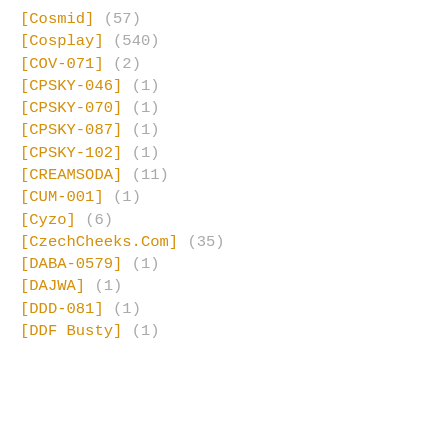[Cosmid] (57)
[Cosplay] (540)
[COV-071] (2)
[CPSKY-046] (1)
[CPSKY-070] (1)
[CPSKY-087] (1)
[CPSKY-102] (1)
[CREAMSODA] (11)
[CUM-001] (1)
[Cyzo] (6)
[CzechCheeks.Com] (35)
[DABA-0579] (1)
[DAJWA] (1)
[DDD-081] (1)
[DDF Busty] (1)